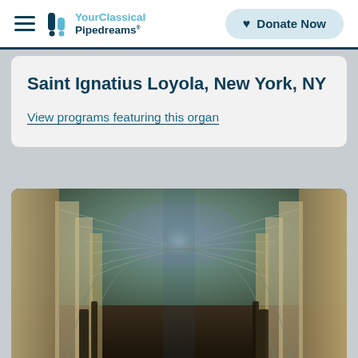YourClassical Pipedreams — Donate Now
Saint Ignatius Loyola, New York, NY
View programs featuring this organ
[Figure (photo): Interior of a Gothic cathedral with tall ribbed vaulted ceilings, ornate arched nave, soaring columns, and colorful stonework viewed from the main aisle looking toward the altar.]